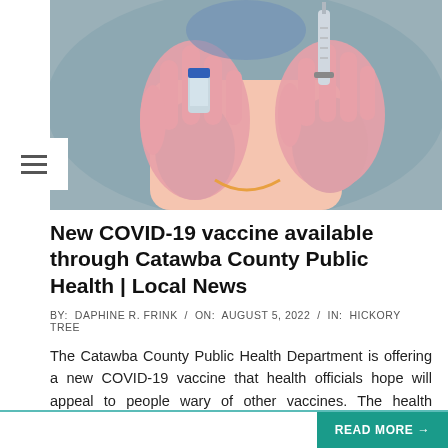[Figure (photo): A healthcare worker wearing pink gloves and a blue face mask holds up a vaccine vial in one hand and a syringe in the other hand against a blurred background.]
New COVID-19 vaccine available through Catawba County Public Health | Local News
BY:  DAPHINE R. FRINK  /  ON:  AUGUST 5, 2022  /  IN:  HICKORY TREE
The Catawba County Public Health Department is offering a new COVID-19 vaccine that health officials hope will appeal to people wary of other vaccines. The health department received its initial shipment of about 600 doses of the Novavax vaccine on Wednesday, public health nurse Elaine Yancey said. Novavax is the